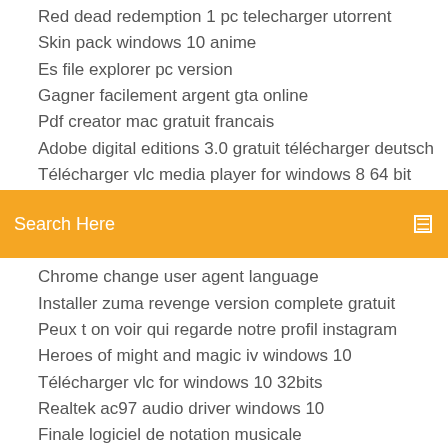Red dead redemption 1 pc telecharger utorrent
Skin pack windows 10 anime
Es file explorer pc version
Gagner facilement argent gta online
Pdf creator mac gratuit francais
Adobe digital editions 3.0 gratuit télécharger deutsch
Télécharger vlc media player for windows 8 64 bit
[Figure (screenshot): Orange/yellow search bar with text 'Search Here' and a small search icon on the right]
Chrome change user agent language
Installer zuma revenge version complete gratuit
Peux t on voir qui regarde notre profil instagram
Heroes of might and magic iv windows 10
Télécharger vlc for windows 10 32bits
Realtek ac97 audio driver windows 10
Finale logiciel de notation musicale
Protéger un dossier par mot de passe sans logiciel
Java se 6 runtime mac os x 10.7.5
Alien vs predator jeuxvideo